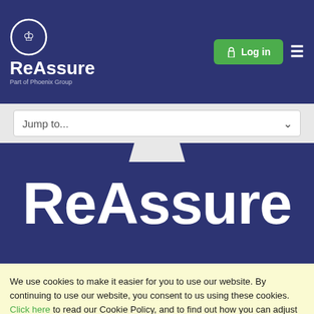[Figure (logo): ReAssure logo with crown icon in a circle, white on dark blue background. Text reads 'ReAssure' and 'Part of Phoenix Group']
Log in
Jump to...
ReAssure
We use cookies to make it easier for you to use our website. By continuing to use our website, you consent to us using these cookies. Click here to read our Cookie Policy, and to find out how you can adjust your browser's cookie settings.
I accept